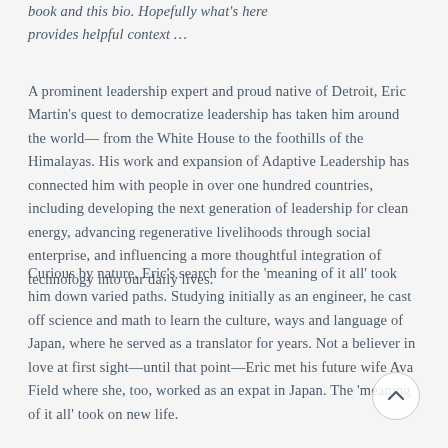book and this bio. Hopefully what's here provides helpful context …
A prominent leadership expert and proud native of Detroit, Eric Martin's quest to democratize leadership has taken him around the world—from the White House to the foothills of the Himalayas. His work and expansion of Adaptive Leadership has connected him with people in over one hundred countries, including developing the next generation of leadership for clean energy, advancing regenerative livelihoods through social enterprise, and influencing a more thoughtful integration of technology into our daily lives.
Curious by nature, Eric's search for the 'meaning of it all' took him down varied paths. Studying initially as an engineer, he cast off science and math to learn the culture, ways and language of Japan, where he served as a translator for years. Not a believer in love at first sight—until that point—Eric met his future wife Ava Field where she, too, worked as an expat in Japan. The 'meaning of it all' took on new life.